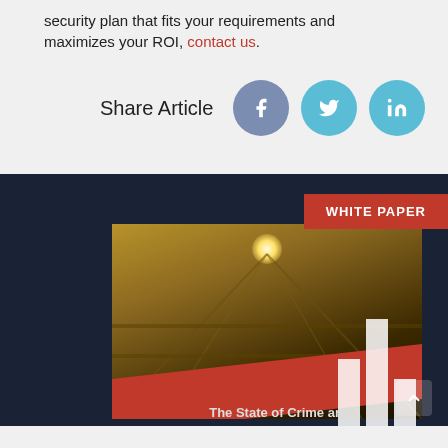security plan that fits your requirements and maximizes your ROI, contact us.
Share Article
[Figure (illustration): Social media share buttons: Facebook (dark blue-grey circle with f icon), Twitter (teal circle with bird icon), LinkedIn (teal circle with 'in' icon)]
[Figure (photo): Dark navy background with a white paper book cover showing a warehouse interior image with shelving racks and a bright overhead light. A red diagonal stripe across the lower portion. A 'WHITE PAPER' badge in red in the top right corner. Bar chart graphic visible on the right side. Stealth logo and text 'The State of Crime and' visible at the bottom.]